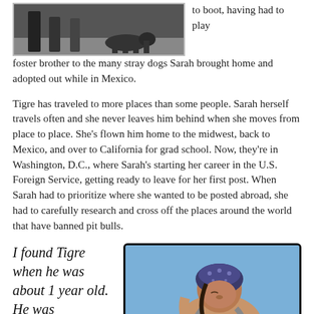[Figure (photo): Photo of people and a dog on a sandy/outdoor surface, partial view showing lower bodies and a dog, black border, gray tones]
to boot, having had to play foster brother to the many stray dogs Sarah brought home and adopted out while in Mexico.
Tigre has traveled to more places than some people. Sarah herself travels often and she never leaves him behind when she moves from place to place. She's flown him home to the midwest, back to Mexico, and over to California for grad school. Now, they're in Washington, D.C., where Sarah's starting her career in the U.S. Foreign Service, getting ready to leave for her first post. When Sarah had to prioritize where she wanted to be posted abroad, she had to carefully research and cross off the places around the world that have banned pit bulls.
I found Tigre when he was about 1 year old. He was
[Figure (photo): Photo of a woman with a dark bandana/headscarf looking down, blue sky background, rounded corners, dark border]